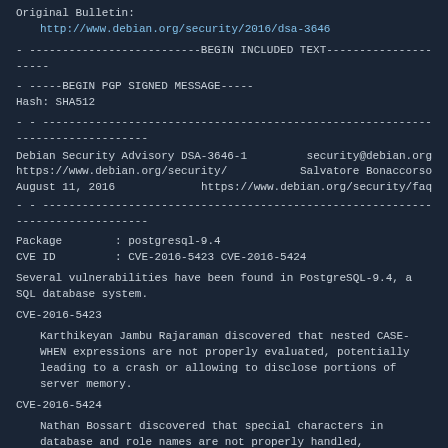Original Bulletin:
   http://www.debian.org/security/2016/dsa-3646
- --------------------------BEGIN INCLUDED TEXT---------------------
- -----BEGIN PGP SIGNED MESSAGE-----
Hash: SHA512
- - -------------------------------------------------------------------------------
Debian Security Advisory DSA-3646-1          security@debian.org
https://www.debian.org/security/              Salvatore Bonaccorso
August 11, 2016                https://www.debian.org/security/faq
- - -------------------------------------------------------------------------------
Package        : postgresql-9.4
CVE ID         : CVE-2016-5423 CVE-2016-5424
Several vulnerabilities have been found in PostgreSQL-9.4, a SQL database system.
CVE-2016-5423
Karthikeyan Jambu Rajaraman discovered that nested CASE-WHEN expressions are not properly evaluated, potentially leading to a crash or allowing to disclose portions of server memory.
CVE-2016-5424
Nathan Bossart discovered that special characters in database and role names are not properly handled, potentially leading to the execution of commands with superuser privileges, when a superuser